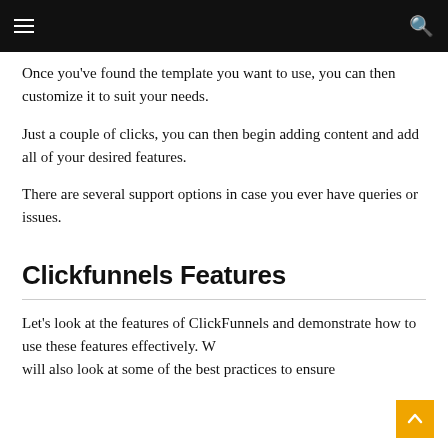Once you've found the template you want to use, you can then customize it to suit your needs.
Just a couple of clicks, you can then begin adding content and add all of your desired features.
There are several support options in case you ever have queries or issues.
Clickfunnels Features
Let's look at the features of ClickFunnels and demonstrate how to use these features effectively. We will also look at some of the best practices to ensure